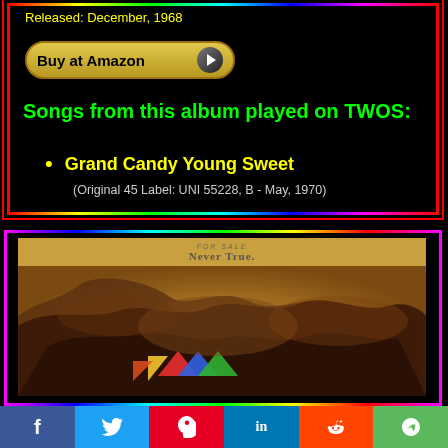Released: December, 1968
[Figure (other): Buy at Amazon button with arrow]
Songs from this album played on TWOS:
Grand Candy Young Sweet
(Original 45 Label: UNI 55228, B - May, 1970)
[Figure (photo): Album cover photo showing 'For Sale / Never True' with organic abstract art on a tan/golden background]
[Figure (other): Social sharing bar with Facebook, Twitter, Pinterest, LinkedIn, Reddit, and share buttons]